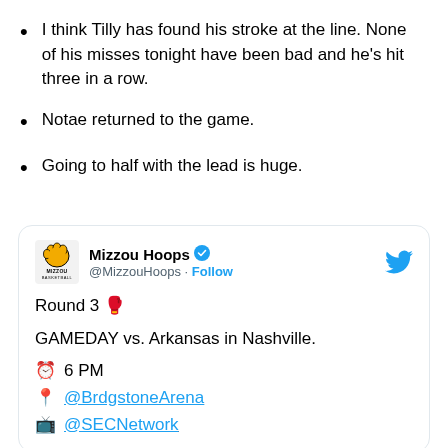I think Tilly has found his stroke at the line. None of his misses tonight have been bad and he's hit three in a row.
Notae returned to the game.
Going to half with the lead is huge.
[Figure (screenshot): Embedded tweet from @MizzouHoops (Mizzou Hoops, verified) with Mizzou Basketball logo. Tweet text: 'Round 3 🥊 GAMEDAY vs. Arkansas in Nashville. ⏰ 6 PM 📍 @BrdgstoneArena 📺 @SECNetwork']